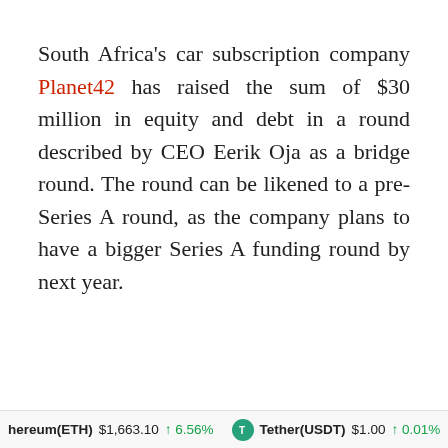South Africa's car subscription company Planet42 has raised the sum of $30 million in equity and debt in a round described by CEO Eerik Oja as a bridge round. The round can be likened to a pre-Series A round, as the company plans to have a bigger Series A funding round by next year.
hereum(ETH) $1,663.10 ↑ 6.56%   Tether(USDT) $1.00 ↑ 0.01%